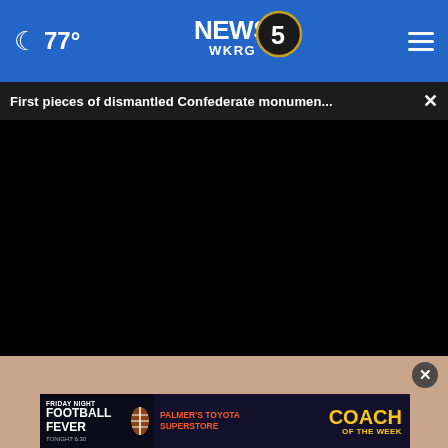77° NEWS 5 WKRG
First pieces of dismantled Confederate monumen...
[Figure (screenshot): Black video player screen, paused at 00:00, with progress bar and playback controls including play, mute, timestamp 00:00, and fullscreen button]
[Figure (photo): Partial face/person visible below the video player]
[Figure (other): Friday Night Football Fever - Palmer's Toyota Superstore - Coach of the Week advertisement banner, Tonight 6:30]